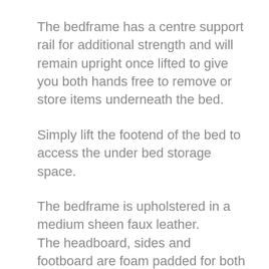The bedframe has a centre support rail for additional strength and will remain upright once lifted to give you both hands free to remove or store items underneath the bed.
Simply lift the footend of the bed to access the under bed storage space.
The bedframe is upholstered in a medium sheen faux leather.
The headboard, sides and footboard are foam padded for both comfort and styling.
The headboard is slightly wider than main bedframe to give a more contemporary design.
The mattress support system is made of wooden sprung slats which fit neatly into the metal frame.